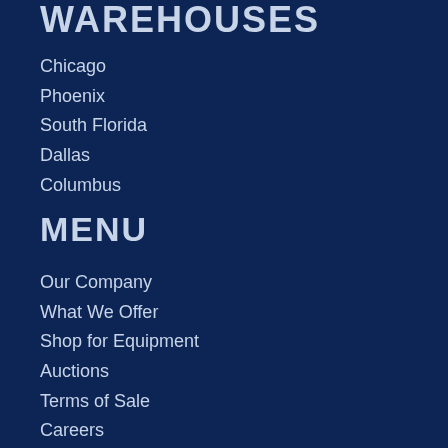WAREHOUSES
Chicago
Phoenix
South Florida
Dallas
Columbus
MENU
Our Company
What We Offer
Shop for Equipment
Auctions
Terms of Sale
Careers